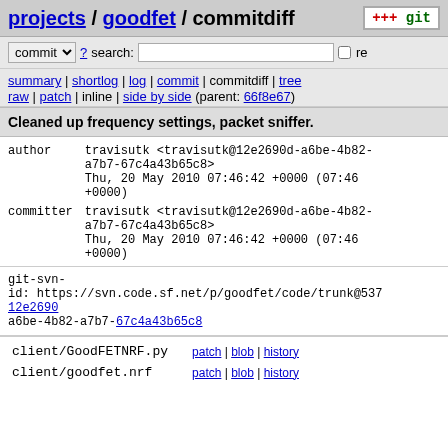projects / goodfet / commitdiff
commit ? search: re
summary | shortlog | log | commit | commitdiff | tree
raw | patch | inline | side by side (parent: 66f8e67)
Cleaned up frequency settings, packet sniffer.
author     travisutk <travisutk@12e2690d-a6be-4b82-a7b7-67c4a43b65c8>
           Thu, 20 May 2010 07:46:42 +0000 (07:46 +0000)
committer  travisutk <travisutk@12e2690d-a6be-4b82-a7b7-67c4a43b65c8>
           Thu, 20 May 2010 07:46:42 +0000 (07:46 +0000)
git-svn-
id: https://svn.code.sf.net/p/goodfet/code/trunk@537 12e2690d-a6be-4b82-a7b7-67c4a43b65c8
| file | links |
| --- | --- |
| client/GoodFETNRF.py | patch | blob | history |
| client/goodfet.nrf | patch | blob | history |